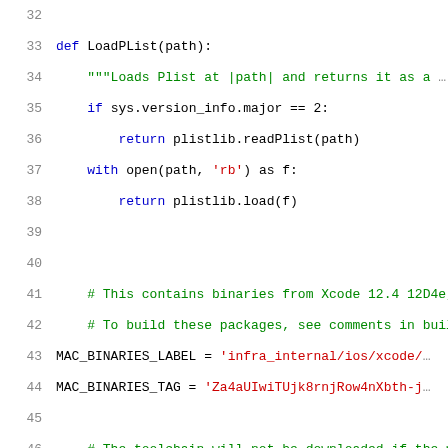32  (blank)
33  def LoadPList(path):
34    """Loads Plist at |path| and returns it as a ...
35    if sys.version_info.major == 2:
36      return plistlib.readPlist(path)
37    with open(path, 'rb') as f:
38      return plistlib.load(f)
39  (blank)
40  (blank)
41  # This contains binaries from Xcode 12.4 12D4e,
42  # To build these packages, see comments in buil...
43  MAC_BINARIES_LABEL = 'infra_internal/ios/xcode/...
44  MAC_BINARIES_TAG = 'Za4aUIwiTUjk8rnjRow4nXbth-j...
45  (blank)
46  # The toolchain will not be downloaded if the m...
47  # is the major version number for macOS 10.15.
48  # on 10.15.4 and newer.
49  MAC_MINIMUM_OS_VERSION = [19, 4]
50  (blank)
51  BASE_DIR = os.path.abspath(os.path.dirname(__fi...
52  TOOLCHAIN_ROOT = os.path.join(BASE_DIR, 'mac_fi...